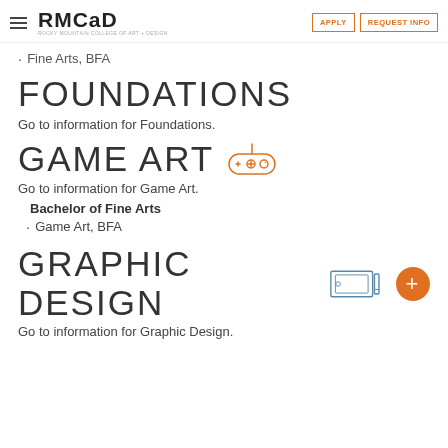RMCAD - Rocky Mountain College of Art + Design — APPLY | REQUEST INFO
Fine Arts, BFA
FOUNDATIONS
Go to information for Foundations.
GAME ART
Go to information for Game Art.
Bachelor of Fine Arts
Game Art, BFA
GRAPHIC DESIGN
Go to information for Graphic Design.